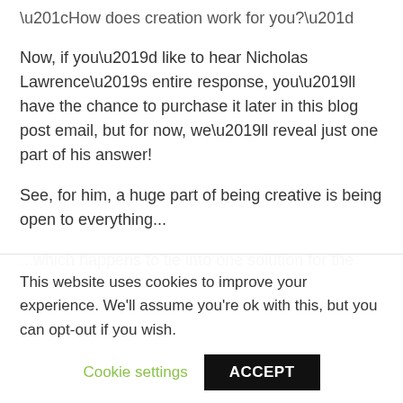“How does creation work for you?”
Now, if you’d like to hear Nicholas Lawrence’s entire response, you’ll have the chance to purchase it later in this blog post email, but for now, we’ll reveal just one part of his answer!
See, for him, a huge part of being creative is being open to everything...
...which happens to tie into one solution for the
This website uses cookies to improve your experience. We'll assume you're ok with this, but you can opt-out if you wish.
Cookie settings   ACCEPT